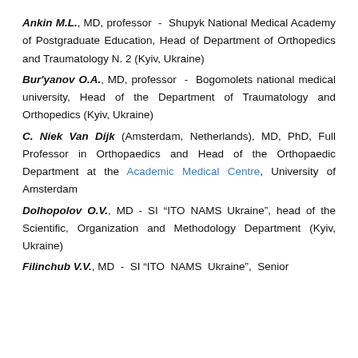Ankin M.L., MD, professor - Shupyk National Medical Academy of Postgraduate Education, Head of Department of Orthopedics and Traumatology N. 2 (Kyiv, Ukraine)
Bur'yanov O.A., MD, professor - Bogomolets national medical university, Head of the Department of Traumatology and Orthopedics (Kyiv, Ukraine)
C. Niek Van Dijk (Amsterdam, Netherlands), MD, PhD, Full Professor in Orthopaedics and Head of the Orthopaedic Department at the Academic Medical Centre, University of Amsterdam
Dolhopolov O.V., MD - SI “ITO NAMS Ukraine”, head of the Scientific, Organization and Methodology Department (Kyiv, Ukraine)
Filinchuk V.V., MD - SI “ITO NAMS Ukraine”, Senior...